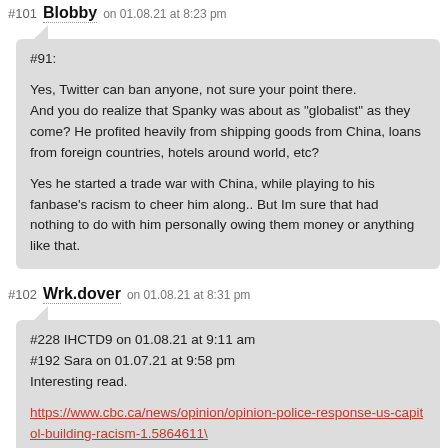#101 Blobby on 01.08.21 at 8:23 pm
#91:

Yes, Twitter can ban anyone, not sure your point there.
And you do realize that Spanky was about as "globalist" as they come? He profited heavily from shipping goods from China, loans from foreign countries, hotels around world, etc?

Yes he started a trade war with China, while playing to his fanbase's racism to cheer him along.. But Im sure that had nothing to do with him personally owing them money or anything like that.
#102 Wrk.dover on 01.08.21 at 8:31 pm
#228 IHCTD9 on 01.08.21 at 9:11 am
#192 Sara on 01.07.21 at 9:58 pm
Interesting read.

https://www.cbc.ca/news/opinion/opinion-police-response-us-capitol-building-racism-1.5864611\